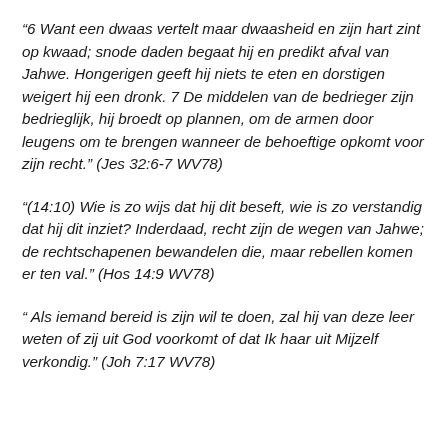“6 Want een dwaas vertelt maar dwaasheid en zijn hart zint op kwaad; snode daden begaat hij en predikt afval van Jahwe. Hongerigen geeft hij niets te eten en dorstigen weigert hij een dronk. 7 De middelen van de bedrieger zijn bedrieglijk, hij broedt op plannen, om de armen door leugens om te brengen wanneer de behoeftige opkomt voor zijn recht.” (Jes 32:6-7 WV78)
“(14:10) Wie is zo wijs dat hij dit beseft, wie is zo verstandig dat hij dit inziet? Inderdaad, recht zijn de wegen van Jahwe; de rechtschapenen bewandelen die, maar rebellen komen er ten val.” (Hos 14:9 WV78)
“ Als iemand bereid is zijn wil te doen, zal hij van deze leer weten of zij uit God voorkomt of dat Ik haar uit Mijzelf verkondig.” (Joh 7:17 WV78)